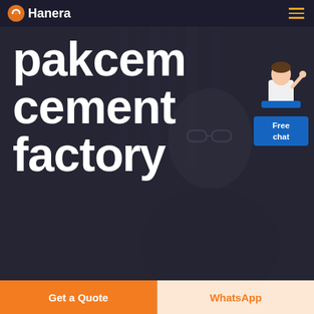Hanera (logo) [hamburger menu]
[Figure (screenshot): Website hero section screenshot showing a dark overlay on a background photo of a woman with glasses. Large bold white text reads 'pakcem cement factory'. A free chat widget with a customer service representative illustration appears in the upper right.]
pakcem cement factory
Free chat
Get a Quote
WhatsApp